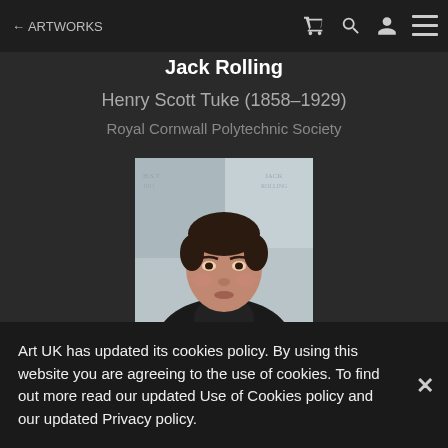← ARTWORKS
Jack Rolling
Henry Scott Tuke (1858–1929)
Royal Cornwall Polytechnic Society
[Figure (photo): Portrait painting of a young man with dark hair wearing a dark high-collar jacket, painted against a pale blue-grey background. Oil painting style.]
Art UK has updated its cookies policy. By using this website you are agreeing to the use of cookies. To find out more read our updated Use of Cookies policy and our updated Privacy policy.